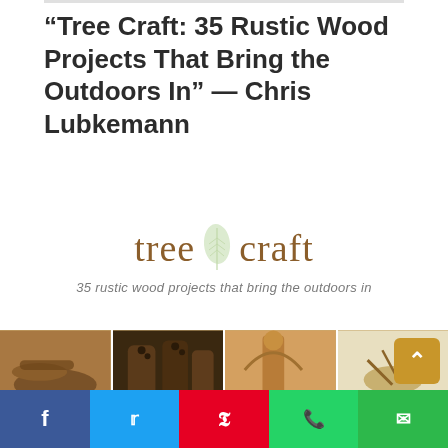“Tree Craft: 35 Rustic Wood Projects That Bring the Outdoors In” — Chris Lubkemann
[Figure (illustration): Tree Craft book cover showing the title 'tree craft' in brown serif font with a leaf icon between the two words, subtitle '35 rustic wood projects that bring the outdoors in' in italic gray text, and a strip of photos showing rustic wood craft items at the bottom.]